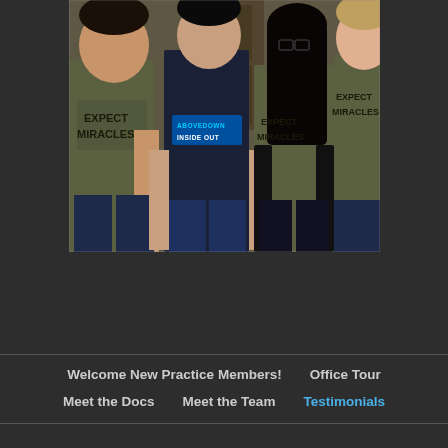[Figure (photo): Four people standing together wearing t-shirts. Two on the left and right wear olive/army green 'EXPECT MIRACLES' t-shirts, the person second from left wears a dark navy t-shirt reading 'ABOVEDOWN INSIDE OUT' in blue text, and the woman third from left wears an olive green 'EXPECT MIRACLES' t-shirt. They are smiling and posing indoors.]
Welcome New Practice Members!
Office Tour
Meet the Docs
Meet the Team
Testimonials